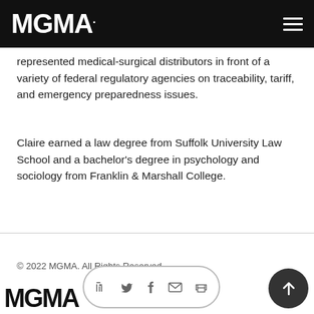MGMA.
represented medical-surgical distributors in front of a variety of federal regulatory agencies on traceability, tariff, and emergency preparedness issues.
Claire earned a law degree from Suffolk University Law School and a bachelor's degree in psychology and sociology from Franklin & Marshall College.
© 2022 MGMA. All Rights Reserved.